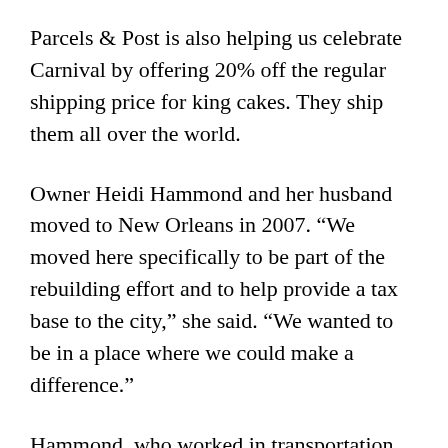Parcels & Post is also helping us celebrate Carnival by offering 20% off the regular shipping price for king cakes. They ship them all over the world.
Owner Heidi Hammond and her husband moved to New Orleans in 2007. “We moved here specifically to be part of the rebuilding effort and to help provide a tax base to the city,” she said. “We wanted to be in a place where we could make a difference.”
Hammond, who worked in transportation and packaging, always wanted her own business. With the help of a business broker, she found Parcels & Post, which was the perfect fit.
Originally located on the corner of Magazine and